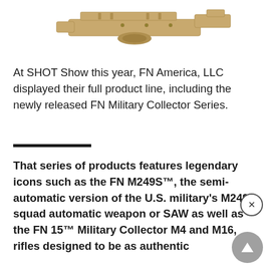[Figure (photo): Partial view of a tan/desert-colored military firearm (appears to be a machine gun mount or similar weapon), cropped at the top of the page]
At SHOT Show this year, FN America, LLC displayed their full product line, including the newly released FN Military Collector Series.
That series of products features legendary icons such as the FN M249S™, the semi-automatic version of the U.S. military's M249 squad automatic weapon or SAW as well as the FN 15™ Military Collector M4 and M16, rifles designed to be as authentic